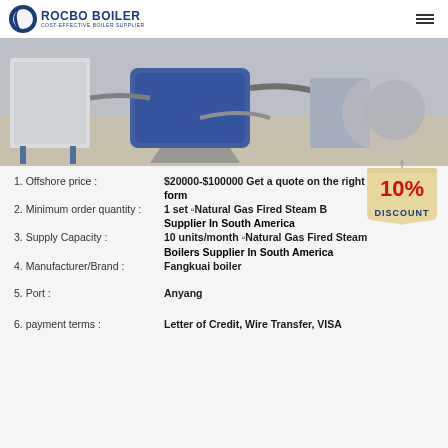[Figure (logo): Rocbo Boiler logo with crescent icon and text ROCBO BOILER / COST-EFFECTIVE BOILER SUPPLIER]
[Figure (photo): Industrial boiler equipment in a facility - white machinery, blue cylindrical boilers, various pipes and components on a light floor]
1. Offshore price : $20000-$100000 Get a quote on the right form
2. Minimum order quantity : 1 set Natural Gas Fired Steam Boilers Supplier In South America
3. Supply Capacity : 10 units/month Natural Gas Fired Steam Boilers Supplier In South America
4. Manufacturer/Brand : Fangkuai boiler
5. Port : Anyang
6. payment terms : Letter of Credit, Wire Transfer, VISA
[Figure (infographic): 10% DISCOUNT badge - red text on cream/tan hanging tag shape]